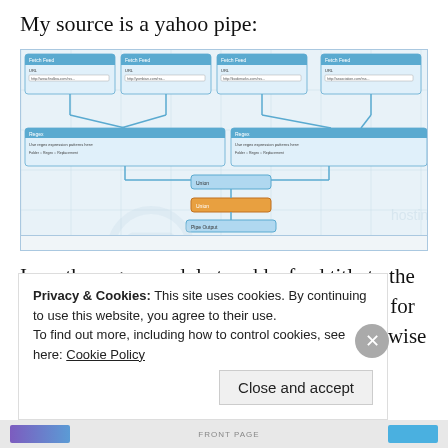My source is a yahoo pipe:
[Figure (screenshot): Screenshot of a Yahoo Pipes interface showing multiple feed source modules connected with blue lines to regex modules and a union/merge output module, with a Pipe Output at the bottom. The interface has a light blue/grey grid background with orange and blue module blocks.]
I use the regex module to add a feed title to the beginning of each post. Doing this is useful for a mashup because the feed title would otherwise get lost.
Privacy & Cookies: This site uses cookies. By continuing to use this website, you agree to their use.
To find out more, including how to control cookies, see here: Cookie Policy
Close and accept